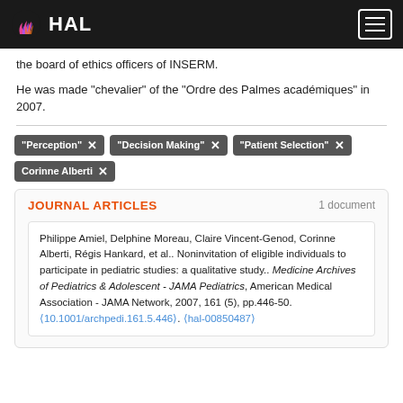HAL
the board of ethics officers of INSERM.

He was made "chevalier" of the "Ordre des Palmes académiques" in 2007.
"Perception" ×
"Decision Making" ×
"Patient Selection" ×
Corinne Alberti ×
JOURNAL ARTICLES  1 document
Philippe Amiel, Delphine Moreau, Claire Vincent-Genod, Corinne Alberti, Régis Hankard, et al.. Noninvitation of eligible individuals to participate in pediatric studies: a qualitative study.. Medicine Archives of Pediatrics & Adolescent - JAMA Pediatrics, American Medical Association - JAMA Network, 2007, 161 (5), pp.446-50. ⟨10.1001/archpedi.161.5.446⟩. ⟨hal-00850487⟩